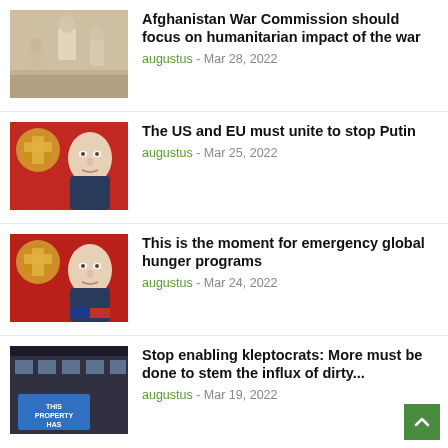[Figure (photo): People standing outdoors, appearing to be in Afghanistan]
Afghanistan War Commission should focus on humanitarian impact of the war
augustus - Mar 28, 2022
[Figure (photo): Portrait of Vladimir Putin against a red background with gold Russian eagle emblem]
The US and EU must unite to stop Putin
augustus - Mar 25, 2022
[Figure (photo): Portrait of Vladimir Putin against a red background with gold Russian eagle emblem]
This is the moment for emergency global hunger programs
augustus - Mar 24, 2022
[Figure (photo): Building exterior with a blue protest banner reading THIS PROPERTY HAS BEEN]
Stop enabling kleptocrats: More must be done to stem the influx of dirty...
augustus - Mar 19, 2022